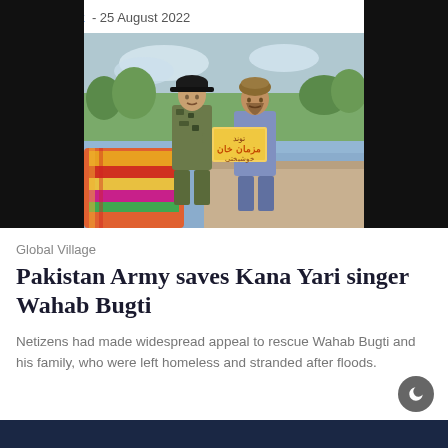News Desk - 25 August 2022
[Figure (photo): A Pakistan Army soldier in camouflage uniform and cap speaking with a man in traditional shalwar kameez and Balochi cap, with flood water visible in the background and colorful bundled cloth/relief goods in the foreground.]
Global Village
Pakistan Army saves Kana Yari singer Wahab Bugti
Netizens had made widespread appeal to rescue Wahab Bugti and his family, who were left homeless and stranded after floods.